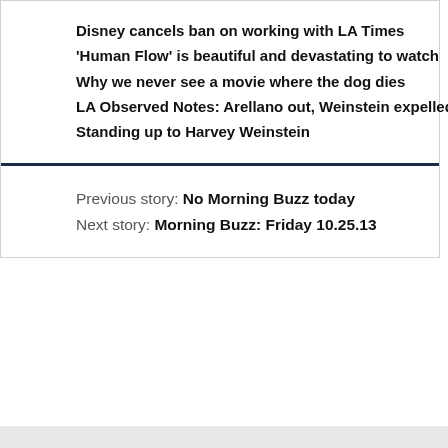Disney cancels ban on working with LA Times
'Human Flow' is beautiful and devastating to watch
Why we never see a movie where the dog dies
LA Observed Notes: Arellano out, Weinstein expelled
Standing up to Harvey Weinstein
Previous story: No Morning Buzz today
Next story: Morning Buzz: Friday 10.25.13